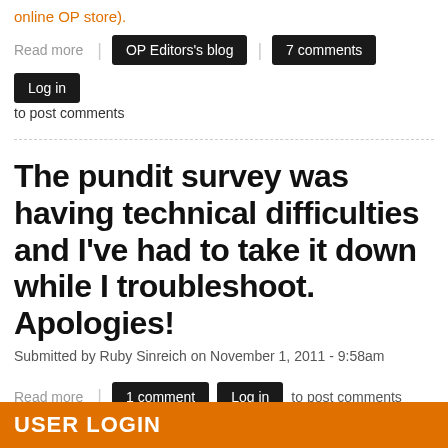online OP store).
Read more | OP Editors's blog | 7 comments | Log in to post comments
The pundit survey was having technical difficulties and I've had to take it down while I troubleshoot. Apologies!
Submitted by Ruby Sinreich on November 1, 2011 - 9:58am
Read more | 1 comment | Log in to post comments
1 2 3 4 next › last »
USER LOGIN